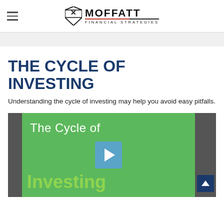MOFFATT FINANCIAL STRATEGIES
THE CYCLE OF INVESTING
Understanding the cycle of investing may help you avoid easy pitfalls.
[Figure (screenshot): Video thumbnail with green background showing text 'The Cycle of Investing' with a play button overlay. Dark gray side panels flank the green video area. A blue scroll-up button is visible on the right side panel.]